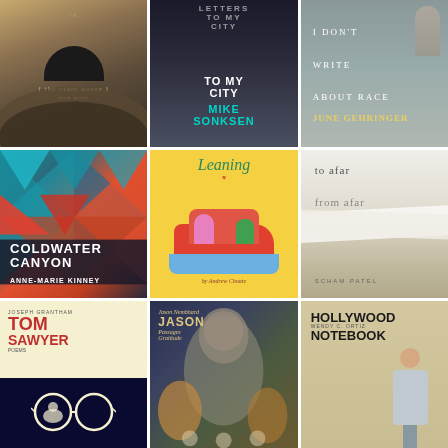[Figure (illustration): Book cover: 'The Other House' by Nick Greer — abstract grey/gold landscape with a fan/parasol shape]
[Figure (illustration): Book cover: 'Letters to My City' by Mike Sonksen — dark background with teal author name]
[Figure (illustration): Book cover: 'I Don't Write About Race' by June Gehringer — grey-teal background with white title text and yellow author name]
[Figure (illustration): Book cover: 'Coldwater Canyon' by Anne-Marie Kinney — teal and red geometric triangles]
[Figure (illustration): Book cover: 'Leaning' by Andrew Choate — yellow background with illustrated figures in a car]
[Figure (illustration): Book cover: 'To Afar From Afar' by Scham Patel — minimal white/beige design with grey text]
[Figure (illustration): Book cover: 'Tom Sawyer' (Poems) by Joseph Grantham — cream background with red title and dark illustration]
[Figure (illustration): Book cover: 'Jason' by Jason Nembhard — dark illustrated painting of figures]
[Figure (illustration): Book cover: 'Hollywood Notebook' by Wendy C. Ortiz — beige/tan background with bold black title and woman figure]